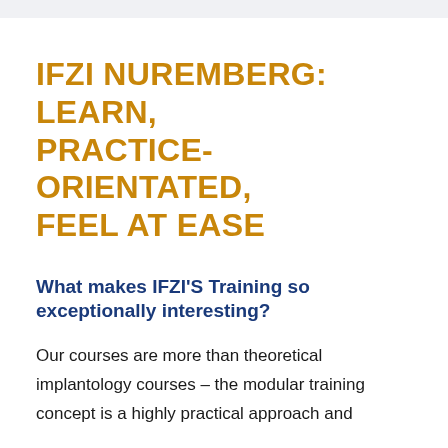IFZI NUREMBERG: LEARN, PRACTICE-ORIENTATED, FEEL AT EASE
What makes IFZI'S Training so exceptionally interesting?
Our courses are more than theoretical implantology courses – the modular training concept is a highly practical approach and